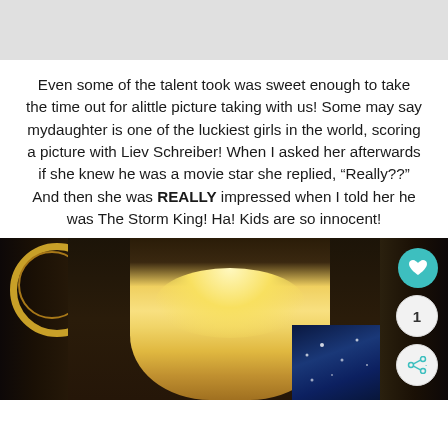[Figure (photo): Top gray bar / header area of a webpage or blog post]
Even some of the talent took was sweet enough to take the time out for alittle picture taking with us!  Some may say mydaughter is one of the luckiest girls in the world, scoring a picture with Liev Schreiber!  When I asked her afterwards if she knew he was a movie star she replied, “Really??”  And then she was REALLY impressed when I told her he was The Storm King!  Ha!  Kids are so innocent!
[Figure (photo): Bottom portion of page showing a photo of a blonde woman, with gold circular decoration on left, dark panels, and a blue poster with stars on the right side. Heart button, count badge '1', and share button overlaid on right edge.]